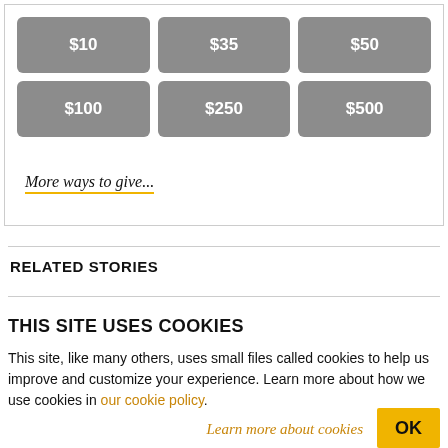[Figure (other): Donation amount button grid with six buttons: $10, $35, $50, $100, $250, $500 on grey rounded rectangle buttons arranged in 2 rows of 3]
More ways to give...
RELATED STORIES
THIS SITE USES COOKIES
This site, like many others, uses small files called cookies to help us improve and customize your experience. Learn more about how we use cookies in our cookie policy.
Learn more about cookies   OK